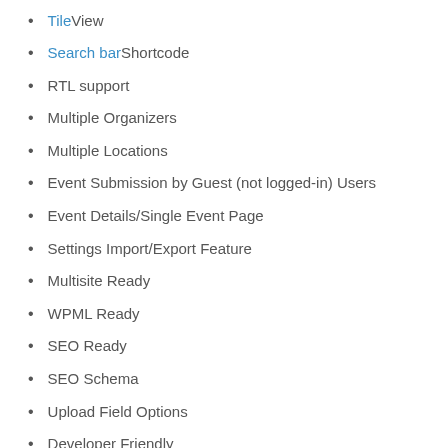Tile View
Search bar Shortcode
RTL support
Multiple Organizers
Multiple Locations
Event Submission by Guest (not logged-in) Users
Event Details/Single Event Page
Settings Import/Export Feature
Multisite Ready
WPML Ready
SEO Ready
SEO Schema
Upload Field Options
Developer Friendly
Shortcode For Page Builders
Search Bar Feature
Customizable Timetable (pro)
Additional Organizers